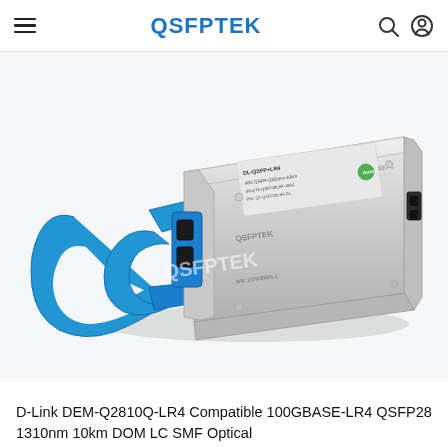QSFPTEK
[Figure (photo): QSFPTEK branded QSFP28 100G optical transceiver module with blue pull-tab handle, silver metallic body, LC duplex connector ports, product label showing DL-QSFP+LR4 markings, photographed at an angle on white background with QSFPTEK watermark]
D-Link DEM-Q2810Q-LR4 Compatible 100GBASE-LR4 QSFP28 1310nm 10km DOM LC SMF Optical